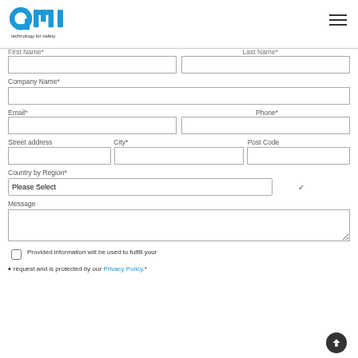[Figure (logo): GMI Technology for Safety logo — blue stylized letters g, m, i with tagline 'technology for safety']
First Name*
Last Name*
Company Name*
Email*
Phone*
Street address
City*
Post Code
Country by Region*
Message
Provided information will be used to fulfill your
request and is protected by our Privacy Policy.*